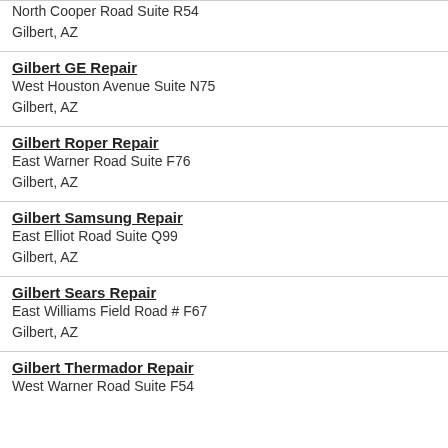North Cooper Road Suite R54
Gilbert, AZ
Gilbert GE Repair
West Houston Avenue Suite N75
Gilbert, AZ
Gilbert Roper Repair
East Warner Road Suite F76
Gilbert, AZ
Gilbert Samsung Repair
East Elliot Road Suite Q99
Gilbert, AZ
Gilbert Sears Repair
East Williams Field Road # F67
Gilbert, AZ
Gilbert Thermador Repair
West Warner Road Suite F54